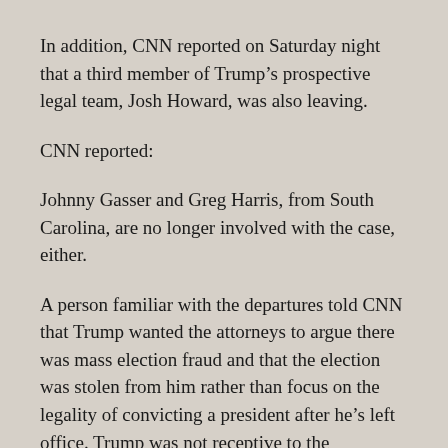In addition, CNN reported on Saturday night that a third member of Trump's prospective legal team, Josh Howard, was also leaving.
CNN reported:
Johnny Gasser and Greg Harris, from South Carolina, are no longer involved with the case, either.
A person familiar with the departures told CNN that Trump wanted the attorneys to argue there was mass election fraud and that the election was stolen from him rather than focus on the legality of convicting a president after he's left office. Trump was not receptive to the discussions about how they should proceed in that regard.